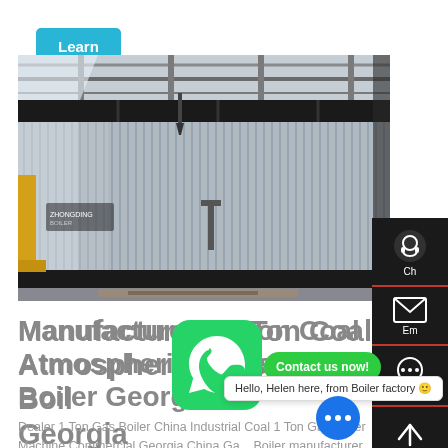Learn More
[Figure (photo): Industrial coal atmospheric pressure boiler in factory setting, showing corrugated metal sides, overhead crane rails, and concrete floor]
Manufacturers 1 Ton Coal Atmospheric Pressure Boiler Georgia
Dealer 1 Ton Gas Boiler China Industrial Coal 1 Ton Gas Boiler Machine Commercial Georgia China Gas Boiler manufacturer Steam Boiler Coal Boiler 1 to/Vau